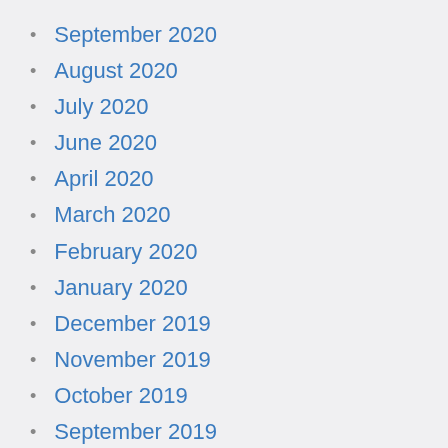September 2020
August 2020
July 2020
June 2020
April 2020
March 2020
February 2020
January 2020
December 2019
November 2019
October 2019
September 2019
August 2019
June 2019